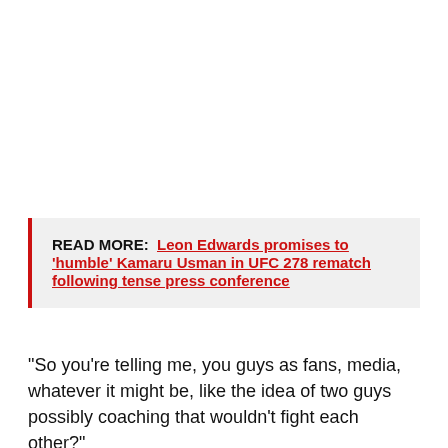READ MORE: Leon Edwards promises to 'humble' Kamaru Usman in UFC 278 rematch following tense press conference
“So you’re telling me, you guys as fans, media, whatever it might be, like the idea of two guys possibly coaching that wouldn’t fight each other?” White responded Tuesday when asked about Ferguson’s proposal